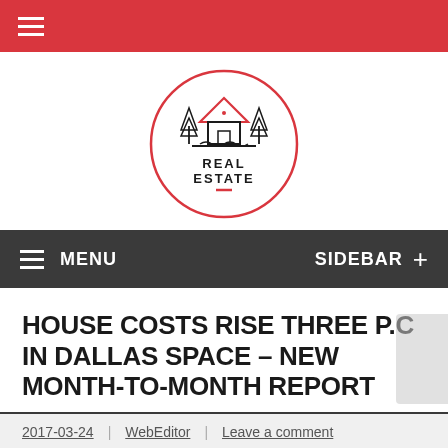≡ (hamburger menu, red top bar)
[Figure (logo): Real Estate circular logo with house and trees icon in red and black, text REAL ESTATE below]
≡ MENU    SIDEBAR +
HOUSE COSTS RISE THREE P.C IN DALLAS SPACE – NEW MONTH-TO-MONTH REPORT
2017-03-24 | WebEditor | Leave a comment